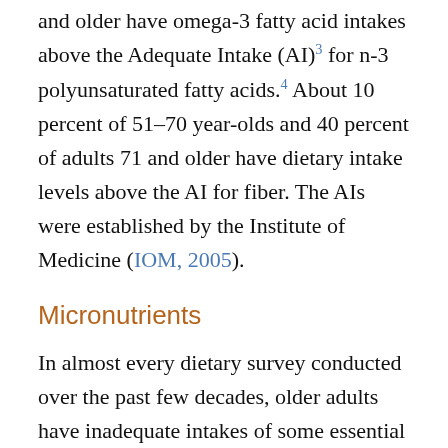and older have omega-3 fatty acid intakes above the Adequate Intake (AI)3 for n-3 polyunsaturated fatty acids.4 About 10 percent of 51–70 year-olds and 40 percent of adults 71 and older have dietary intake levels above the AI for fiber. The AIs were established by the Institute of Medicine (IOM, 2005).
Micronutrients
In almost every dietary survey conducted over the past few decades, older adults have inadequate intakes of some essential micronutrients. Moreover, subsets of older adults are often at greater risk of certain micronutrient deficiencies. For example, Non-Hispanic black and low-income older adults typically experience